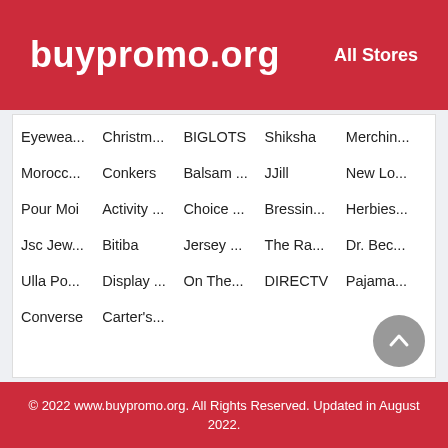buypromo.org   All Stores
Eyewea...
Christm...
BIGLOTS
Shiksha
Merchin...
Morocc...
Conkers
Balsam ...
JJill
New Lo...
Pour Moi
Activity ...
Choice ...
Bressin...
Herbies...
Jsc Jew...
Bitiba
Jersey ...
The Ra...
Dr. Bec...
Ulla Po...
Display ...
On The...
DIRECTV
Pajama...
Converse
Carter's...
© 2022 www.buypromo.org. All Rights Reserved. Updated in August 2022.